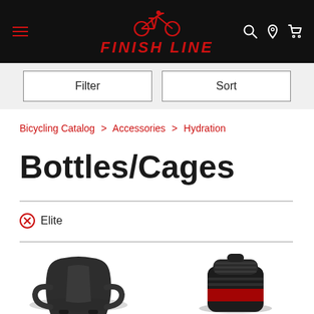[Figure (logo): Finish Line bicycle shop logo — red cyclist icon above red italic 'FINISH LINE' text on black header background]
Filter
Sort
Bicycling Catalog > Accessories > Hydration
Bottles/Cages
⊗ Elite
[Figure (photo): Black bicycle bottle cage viewed from above/front, partially visible at bottom of page]
[Figure (photo): Black bicycle water bottle cap/top close-up, partially visible at bottom right of page]